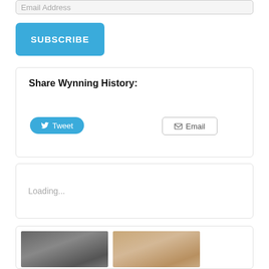Email Address
SUBSCRIBE
Share Wynning History:
Tweet
Email
Loading...
[Figure (photo): Two thumbnail images at bottom: left is a black and white historical photo of a person crouching outdoors; right is a sepia-toned portrait of a historical figure.]